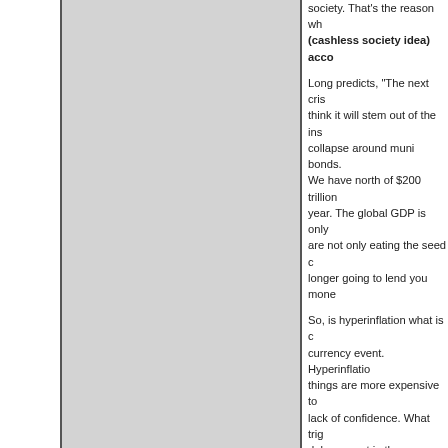[Figure (other): Gray rectangular image/video placeholder with dark borders on left and right sides]
society. That's the reason why (cashless society idea) acco
Long predicts, "The next crisis think it will stem out of the ins collapse around muni bonds. We have north of $200 trillion year. The global GDP is only are not only eating the seed c longer going to lend you mone
So, is hyperinflation what is c currency event. Hyperinflatio things are more expensive to lack of confidence. What trig debasement in these develop going to have both inflation a oversupply I talked about. Ex hurt assets (bonds held as co collateral. When that happens then we go up. We could hav
Long adds that it will be "2008
Join Greg Hunter as he goes
(There is much, much more in